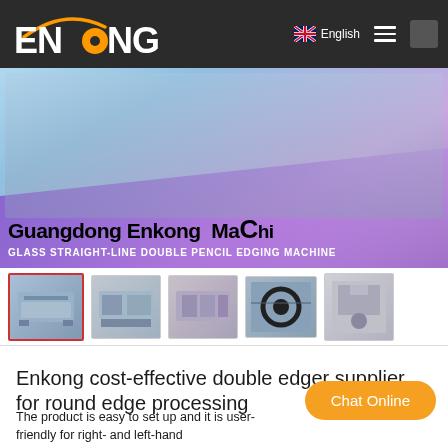ENKONG  English
[Figure (photo): Hero banner showing glass straight-line double pencil edging machine with text overlay: 'Guangdong Enkong Machi' and 'GLASS STRAIGHT-LINE DOUBLE PENCIL EDGING MACHINE']
[Figure (photo): Thumbnail strip of 5 product images of the glass edging machine]
Enkong cost-effective double edger supplier for round edge processing
The product is easy to set up and it is user-friendly for right- and left-hand